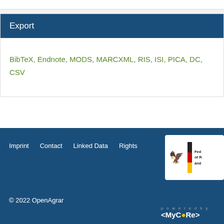Export
BibTeX, Endnote, MODS, MARCXML, RIS, ISI, PICA, DC, CSV
Imprint   Contact   Linked Data   Rights   © 2022 OpenAgrar   powered by <MyCoRe>